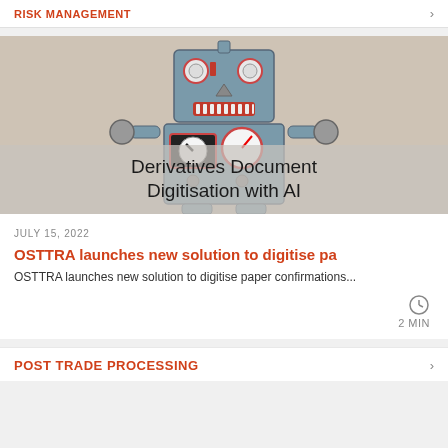RISK MANAGEMENT
[Figure (photo): Vintage toy robot with clock-like dials and gauges on its body, with text overlay 'Derivatives Document Digitisation with AI']
JULY 15, 2022
OSTTRA launches new solution to digitise pa
OSTTRA launches new solution to digitise paper confirmations...
2 MIN
POST TRADE PROCESSING